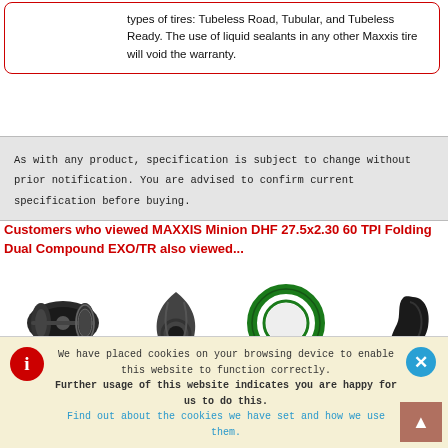types of tires: Tubeless Road, Tubular, and Tubeless Ready. The use of liquid sealants in any other Maxxis tire will void the warranty.
As with any product, specification is subject to change without prior notification. You are advised to confirm current specification before buying.
Customers who viewed MAXXIS Minion DHF 27.5x2.30 60 TPI Folding Dual Compound EXO/TR also viewed...
[Figure (photo): Four bicycle component product images in a row: a rear hub, a derailleur cage piece, a bearing ring, and a rubber seal/gasket]
We have placed cookies on your browsing device to enable this website to function correctly. Further usage of this website indicates you are happy for us to do this. Find out about the cookies we have set and how we use them.